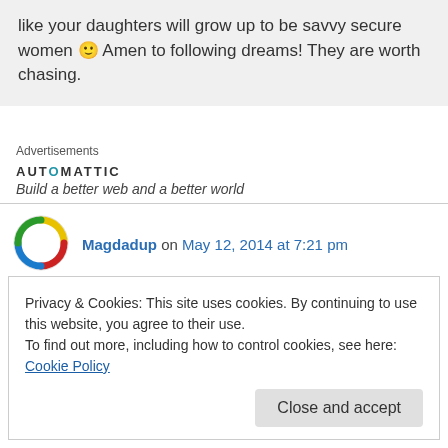like your daughters will grow up to be savvy secure women 🙂 Amen to following dreams! They are worth chasing.
Advertisements
[Figure (logo): Automattic logo with tagline 'Build a better web and a better world']
Magdadup on May 12, 2014 at 7:21 pm
Privacy & Cookies: This site uses cookies. By continuing to use this website, you agree to their use.
To find out more, including how to control cookies, see here: Cookie Policy